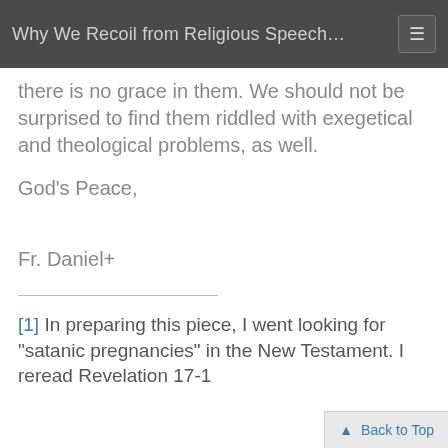Why We Recoil from Religious Speech…
there is no grace in them. We should not be surprised to find them riddled with exegetical and theological problems, as well.
God’s Peace,
Fr. Daniel+
[1] In preparing this piece, I went looking for “satanic pregnancies” in the New Testament. I reread Revelation 17-1